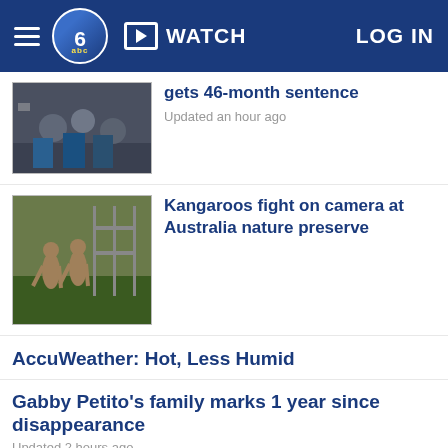WATCH | LOG IN
gets 46-month sentence
Updated an hour ago
Kangaroos fight on camera at Australia nature preserve
AccuWeather: Hot, Less Humid
Gabby Petito's family marks 1 year since disappearance
Updated 2 hours ago
NJ residents will soon be able to get alcohol delivered to their door
Updated 2 hours ago
Police: Man dead in Southwest Philly shooting
SHOW MORE